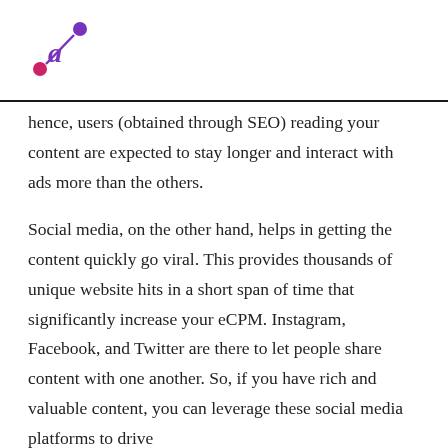a (logo)
hence, users (obtained through SEO) reading your content are expected to stay longer and interact with ads more than the others.
Social media, on the other hand, helps in getting the content quickly go viral. This provides thousands of unique website hits in a short span of time that significantly increase your eCPM. Instagram, Facebook, and Twitter are there to let people share content with one another. So, if you have rich and valuable content, you can leverage these social media platforms to drive more traffic to your site.